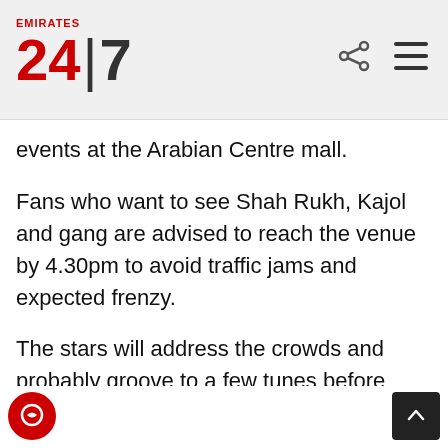Emirates 24|7
events at the Arabian Centre mall.
Fans who want to see Shah Rukh, Kajol and gang are advised to reach the venue by 4.30pm to avoid traffic jams and expected frenzy.
The stars will address the crowds and probably groove to a few tunes before making way for an invite-only gala dinner before heading to the Diff Filmfare ME event at the Madinat Jumeirah.
Diff gala
Those who can't make it to Arabian Centre can make way to the film festival to catch their favourite ico